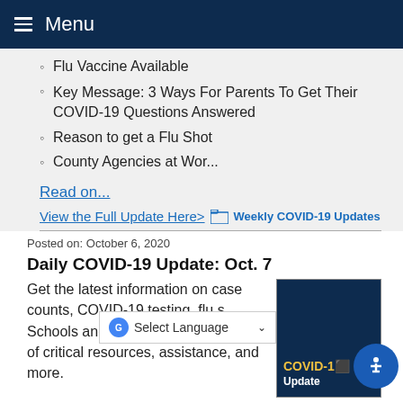Menu
Flu Vaccine Available
Key Message: 3 Ways For Parents To Get Their COVID-19 Questions Answered
Reason to get a Flu Shot
County Agencies at Wor...
Read on...
View the Full Update Here>  Weekly COVID-19 Updates
Posted on: October 6, 2020
Daily COVID-19 Update: Oct. 7
Get the latest information on case counts, COVID-19 testing, flu s... Schools and COVID-19, distribution of critical resources, assistance, and more.
[Figure (screenshot): COVID-19 Update thumbnail image with dark blue background and yellow COVID-19 text]